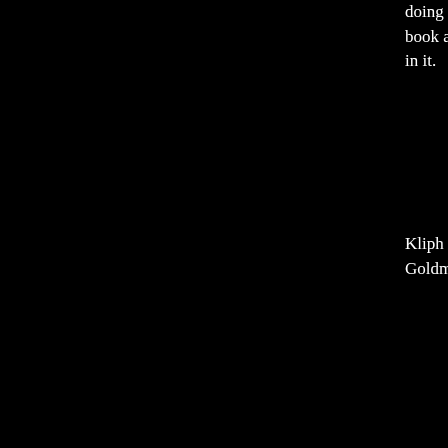doing a third Old Jewish Comedians book and Rusty Warren is going to be in it.
Kliph Nesteroff: Excellent. Ilene Goldman. Have you talked to her?
[Figure (illustration): Black and white illustrated portrait of an elderly person with glasses, laughing, rendered in a detailed cross-hatching style against a striped dark background.]